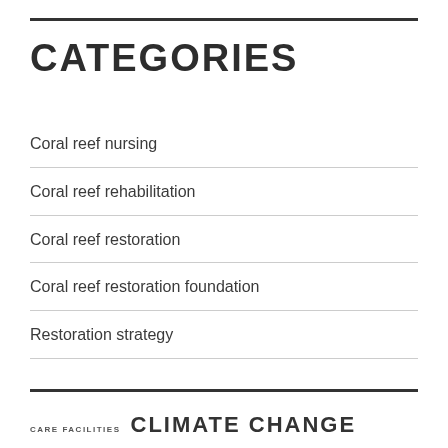CATEGORIES
Coral reef nursing
Coral reef rehabilitation
Coral reef restoration
Coral reef restoration foundation
Restoration strategy
CARE FACILITIES   CLIMATE CHANGE